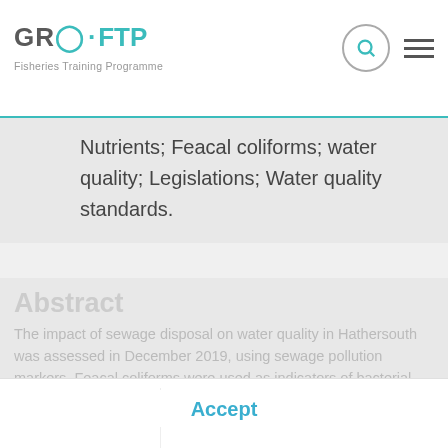GRO · FTP Fisheries Training Programme
Nutrients; Feacal coliforms; water quality; Legislations; Water quality standards.
Abstract
The impact of sewage disposal on water quality in Hathersouth was assessed in December 2019, using sewage pollution markers. Feacal coliforms were used as indicators of bacterial pollution while phosphate, nitrate, silicate and oxygen were used as indicators of possible nutrient enrichment in the bay. Also monitored were salinity, temperature and
We are using cookies to give you the best experience on our website. By continuing to use our website without changing the settings, you are agreeing to our use of cookies. However, if you would like to, you can change your cookie setting at any time. Read more
Accept